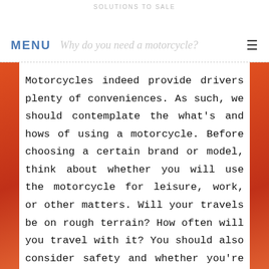SOLUTIONS TO SALE
MENU  Why do you need a motorcycle?
Motorcycles indeed provide drivers plenty of conveniences. As such, we should contemplate the what's and hows of using a motorcycle. Before choosing a certain brand or model, think about whether you will use the motorcycle for leisure, work, or other matters. Will your travels be on rough terrain? How often will you travel with it? You should also consider safety and whether you're confident enough to ride on busy roads. Hopefully you'll never need them, but it's always a good idea to